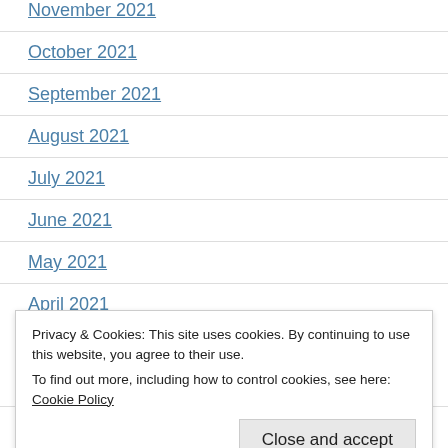November 2021
October 2021
September 2021
August 2021
July 2021
June 2021
May 2021
April 2021
Privacy & Cookies: This site uses cookies. By continuing to use this website, you agree to their use. To find out more, including how to control cookies, see here: Cookie Policy
January 2021